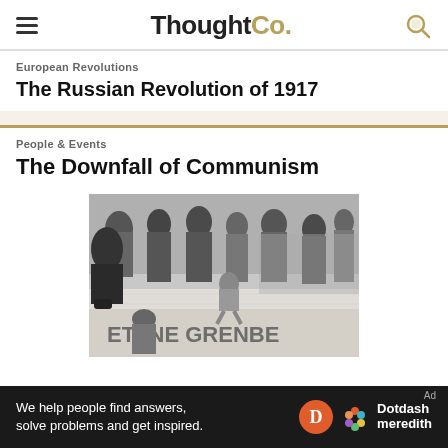ThoughtCo.
European Revolutions
The Russian Revolution of 1917
People & Events
The Downfall of Communism
[Figure (photo): Black and white photograph of people on top of the Berlin Wall, with graffiti reading 'ETTNE GRENBE' visible at the bottom. A young person sits on the wall while crowds stand behind.]
We help people find answers, solve problems and get inspired.
Ad